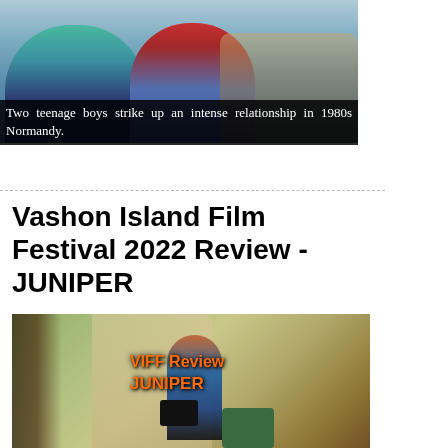[Figure (photo): Two teenage boys photographed together outdoors near water in 1980s setting]
Two teenage boys strike up an intense relationship in 1980s Normandy.
Vashon Island Film Festival 2022 Review - JUNIPER
[Figure (photo): A young woman carrying luggage on a path through trees, with orange text overlay reading 'VIFF Review JUNIPER']